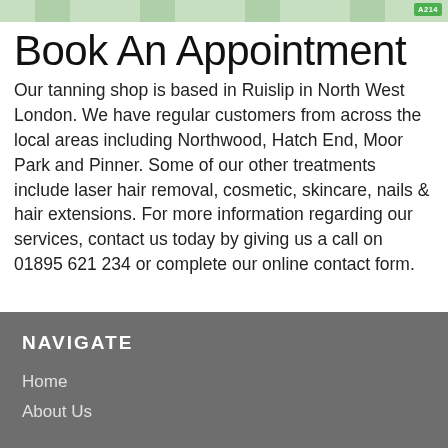[Figure (map): Map strip at the top of the page showing a street/area map with a green badge labeled A214]
Book An Appointment
Our tanning shop is based in Ruislip in North West London. We have regular customers from across the local areas including Northwood, Hatch End, Moor Park and Pinner. Some of our other treatments include laser hair removal, cosmetic, skincare, nails & hair extensions. For more information regarding our services, contact us today by giving us a call on 01895 621 234 or complete our online contact form.
NAVIGATE
Home
About Us